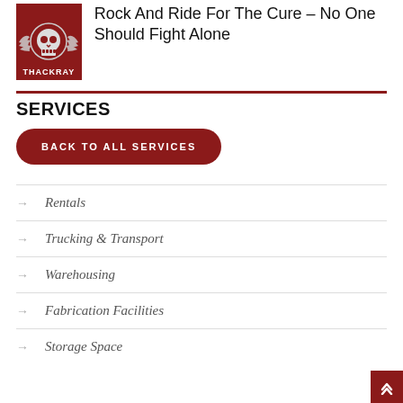[Figure (logo): Red background logo with skull and wings, text THACKRAY at bottom]
Rock And Ride For The Cure – No One Should Fight Alone
SERVICES
BACK TO ALL SERVICES
Rentals
Trucking & Transport
Warehousing
Fabrication Facilities
Storage Space